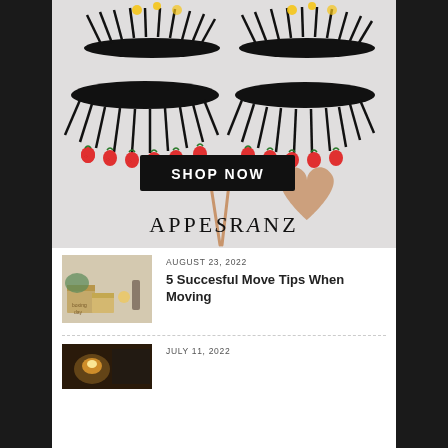[Figure (photo): Advertisement banner for APPESRANZ beauty brand showing false eyelashes with strawberry decorations, makeup tools, a golden heart makeup tool, a black 'SHOP NOW' button, and the brand name APPESRANZ at the bottom]
AUGUST 23, 2022
5 Succesful Move Tips When Moving
[Figure (photo): Thumbnail image of cardboard moving boxes with 'boxing day' written on one]
JULY 11, 2022